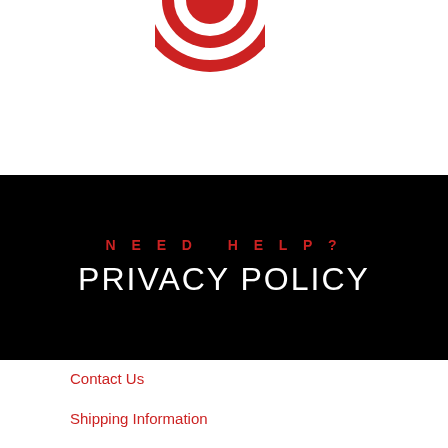[Figure (logo): Target bullseye logo in red and white concentric circles, partial view at top of page]
NEED HELP? PRIVACY POLICY
Contact Us
Shipping Information